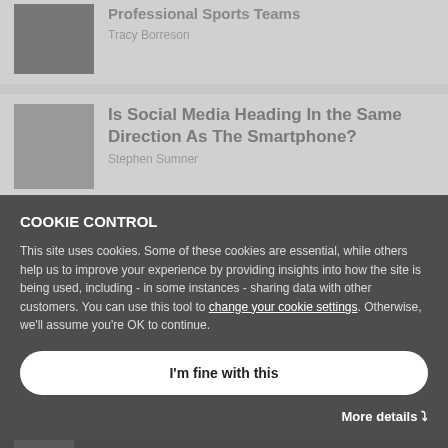Professional Sports Teams
Tracy Borreson
Is Social Media Heading In the Same Direction As The Smartphone?
Stephen Sumner
COOKIE CONTROL
This site uses cookies. Some of these cookies are essential, while others help us to improve your experience by providing insights into how the site is being used, including - in some instances - sharing data with other customers. You can use this tool to change your cookie settings. Otherwise, we'll assume you're OK to continue.
I'm fine with this
More details ∨